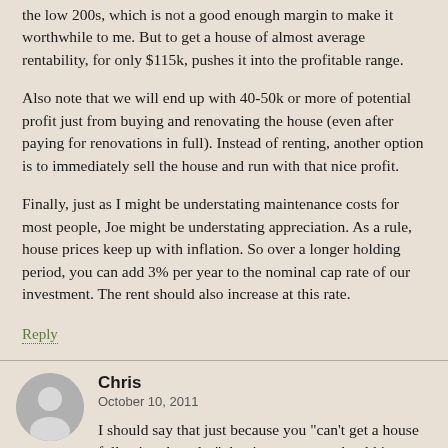the low 200s, which is not a good enough margin to make it worthwhile to me. But to get a house of almost average rentability, for only $115k, pushes it into the profitable range.
Also note that we will end up with 40-50k or more of potential profit just from buying and renovating the house (even after paying for renovations in full). Instead of renting, another option is to immediately sell the house and run with that nice profit.
Finally, just as I might be understating maintenance costs for most people, Joe might be understating appreciation. As a rule, house prices keep up with inflation. So over a longer holding period, you can add 3% per year to the nominal cap rate of our investment. The rent should also increase at this rate.
Reply
Chris
October 10, 2011
I should say that just because you "can't get a house following the rules" that it means you should ignore the rules and buy a house anyway.